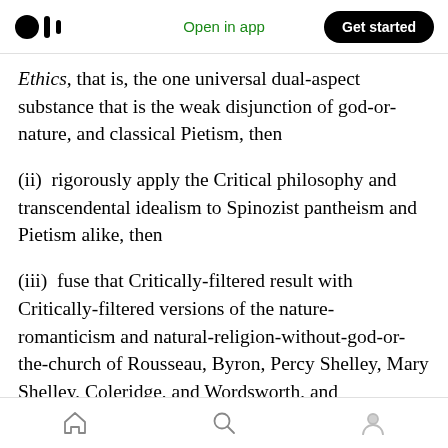Open in app | Get started
Ethics, that is, the one universal dual-aspect substance that is the weak disjunction of god-or-nature, and classical Pietism, then
(ii) rigorously apply the Critical philosophy and transcendental idealism to Spinozist pantheism and Pietism alike, then
(iii) fuse that Critically-filtered result with Critically-filtered versions of the nature-romanticism and natural-religion-without-god-or-the-church of Rousseau, Byron, Percy Shelley, Mary Shelley, Coleridge, and Wordsworth, and
Home | Search | Profile